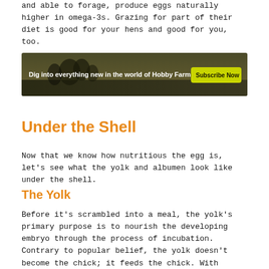and able to forage, produce eggs naturally higher in omega-3s. Grazing for part of their diet is good for your hens and good for you, too.
[Figure (other): Advertisement banner with dark green/brown field background. Text reads: 'Dig into everything new in the world of Hobby Farming.' with a yellow-green 'Subscribe Now' button on the right.]
Under the Shell
Now that we know how nutritious the egg is, let's see what the yolk and albumen look like under the shell.
The Yolk
Before it's scrambled into a meal, the yolk's primary purpose is to nourish the developing embryo through the process of incubation. Contrary to popular belief, the yolk doesn't become the chick; it feeds the chick. With hatching imminent, the fetus absorbs the whole yolk in preparation